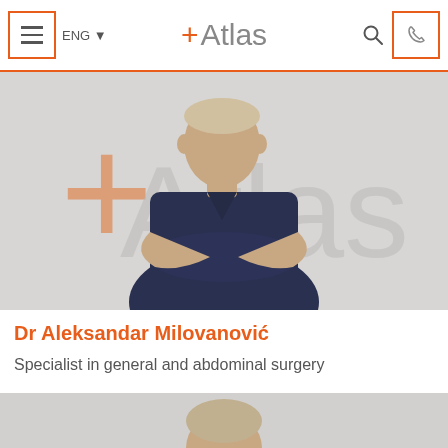Atlas — ENG navigation header with menu, language selector, logo, search, and phone button
[Figure (photo): Dr. Aleksandar Milovanović in dark navy scrubs with arms crossed, standing in front of a light grey background with the Atlas logo watermark (+Atlas) in muted colours]
Dr Aleksandar Milovanović
Specialist in general and abdominal surgery
[Figure (photo): Top portion of a second doctor's head visible at the bottom of the page, standing in front of a similar light grey background]